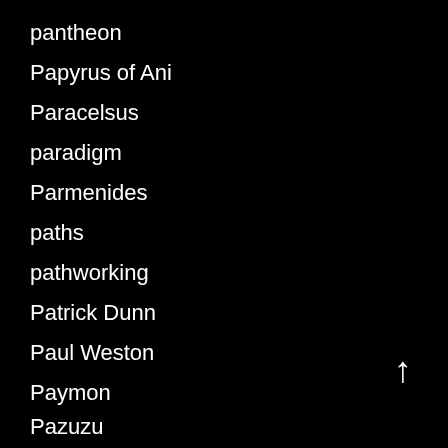pantheon
Papyrus of Ani
Paracelsus
paradigm
Parmenides
paths
pathworking
Patrick Dunn
Paul Weston
Paymon
Pazuzu